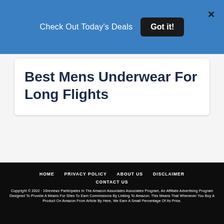Check Out Today's Deals   Got it!
Best Mens Underwear For Long Flights
HOME   PRIVACY POLICY   ABOUT US   DISCLAIMER   CONTACT US
Copyright © 2022 · 10reviewz Participates In The Amazon Associates Associates Program, An Affiliate Advertising Program Designed To Provide A Means For Sites To Earn Commissions By Linking To Amazon. This Means That Whenever You Buy A Product On Amazon From Article By Here, We Earn A Small Percentage Of Its Price.